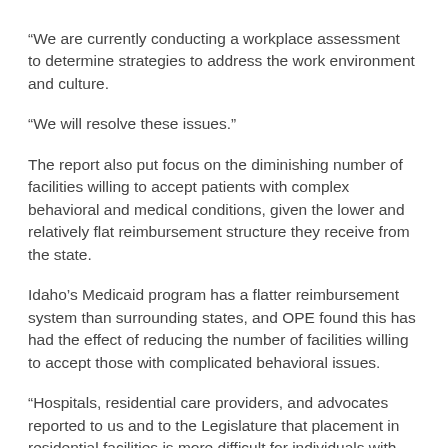“We are currently conducting a workplace assessment to determine strategies to address the work environment and culture.
“We will resolve these issues.”
The report also put focus on the diminishing number of facilities willing to accept patients with complex behavioral and medical conditions, given the lower and relatively flat reimbursement structure they receive from the state.
Idaho’s Medicaid program has a flatter reimbursement system than surrounding states, and OPE found this has had the effect of reducing the number of facilities willing to accept those with complicated behavioral issues.
“Hospitals, residential care providers, and advocates reported to us and to the Legislature that placement in residential facilities is more difficult for individuals with complex medical conditions or behavioral problems,” the report states. “They may remain in hospitals or move out of